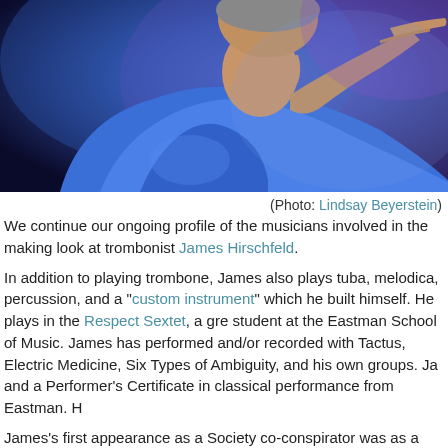[Figure (photo): A musician in a blue t-shirt playing a brass instrument (trombone/trumpet), leaning forward, photographed in dark blue/purple stage lighting]
(Photo: Lindsay Beyerstein)
We continue our ongoing profile of the musicians involved in the making look at trombonist James Hirschfeld.
In addition to playing trombone, James also plays tuba, melodica, percussion, and a "custom instrument" which he built himself. He plays in the Respect Sextet, a group, and is a student at the Eastman School of Music. James has performed and/or recorded with Tactus, Electric Medicine, Six Types of Ambiguity, and his own groups. James holds a BM and a Performer's Certificate in classical performance from Eastman. He...
James's first appearance as a Society co-conspirator was as a last-minute replacement. I guess he must have done a decent enough job because I seem to have kept using him. He is featured on "Habeas Corpus" and it is actually kind of disturbing how well he plays it. The solo here can't be at all showy, it is all about personal expression and coming from a kind of a dark place. Probably the most gratifying thing for any jazz composer is to write something that requires an improviser to do something outside their comfort zone...